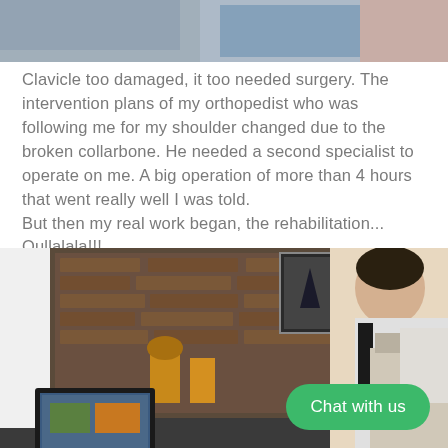[Figure (photo): Partial view of a person and blue fabric, cropped at top of page]
Clavicle too damaged, it too needed surgery. The intervention plans of my orthopedist who was following me for my shoulder changed due to the broken collarbone. He needed a second specialist to operate on me. A big operation of more than 4 hours that went really well I was told.
But then my real work began, the rehabilitation...
Oullalala!!!
[Figure (photo): Person sitting at a desk with a computer monitor, in front of a brick fireplace with decorations. A green 'Chat with us' button overlay appears at bottom right.]